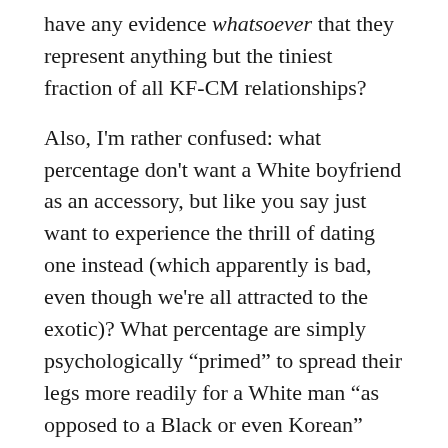have any evidence whatsoever that they represent anything but the tiniest fraction of all KF-CM relationships?
Also, I'm rather confused: what percentage don't want a White boyfriend as an accessory, but like you say just want to experience the thrill of dating one instead (which apparently is bad, even though we're all attracted to the exotic)? What percentage are simply psychologically “primed” to spread their legs more readily for a White man “as opposed to a Black or even Korean” one? And finally, presuming you even allow for the possibility, what percentage of